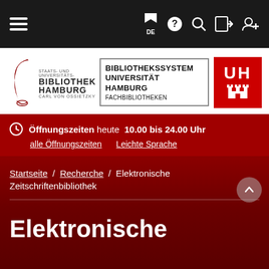[Figure (screenshot): Website navigation bar with hamburger menu icon on the left and icons (flag/DE, help, search, login, register) on the right, dark background]
[Figure (logo): Staats- und Universitätsbibliothek Hamburg Carl von Ossietzky logo with stylized swoosh, Bibliothekssystem Universität Hamburg Fachbibliotheken logo in bordered box, and UH (Universität Hamburg) red square logo with Hamburg castle icon]
Öffnungszeiten heute 10.00 bis 24.00 Uhr
alle Öffnungszeiten   Leichte Sprache
Startseite / Recherche / Elektronische Zeitschriftenbibliothek
Elektronische